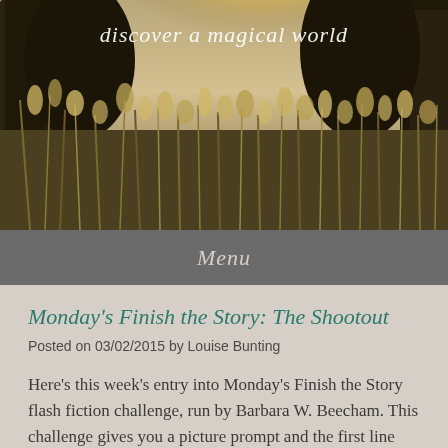[Figure (photo): A nature scene with sunlight filtering through trees, tall grasses and wildflowers in the foreground, with text overlay 'discover a magical world']
Menu
Monday's Finish the Story: The Shootout
Posted on 03/02/2015 by Louise Bunting
Here's this week's entry into Monday's Finish the Story flash fiction challenge, run by Barbara W. Beecham. This challenge gives you a picture prompt and the first line and asks that you finish the story in 100-150 words. The submission deadline is